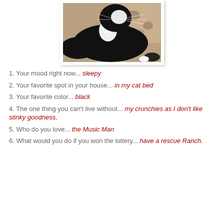[Figure (photo): A black and white tuxedo cat lying down, photographed from above, with a floral cushion or pillow visible in the background.]
1. Your mood right now... sleepy
2. Your favorite spot in your house... in my cat bed
3. Your favorite color... black
4. The one thing you can't live without... my crunchies as I don't like stinky goodness.
5. Who do you love... the Music Man
6. What would you do if you won the lottery... have a rescue Ranch.